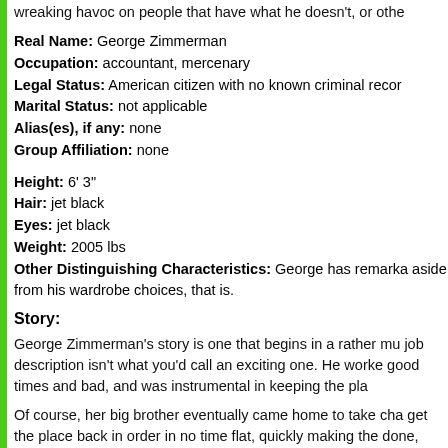wreaking havoc on people that have what he doesn't, or othe
Real Name: George Zimmerman
Occupation: accountant, mercenary
Legal Status: American citizen with no known criminal recor
Marital Status: not applicable
Alias(es), if any: none
Group Affiliation: none
Height: 6' 3"
Hair: jet black
Eyes: jet black
Weight: 2005 lbs
Other Distinguishing Characteristics: George has remarka aside from his wardrobe choices, that is.
Story:
George Zimmerman's story is one that begins in a rather mu job description isn't what you'd call an exciting one. He worke good times and bad, and was instrumental in keeping the pla
Of course, her big brother eventually came home to take cha get the place back in order in no time flat, quickly making the done, George could take a long vacation at last, since his ac
Having worked overtime for years, he'd saved up enough cas of 'darkest' Africa. Not to go hunting or anything like it; he i